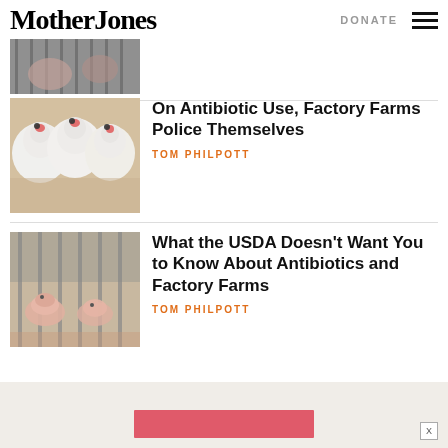Mother Jones | DONATE
[Figure (photo): Partial view of pigs in metal cages, top of page]
[Figure (photo): Chickens crowded together in factory farm setting]
On Antibiotic Use, Factory Farms Police Themselves
TOM PHILPOTT
[Figure (photo): Pigs in metal stalls at factory farm]
What the USDA Doesn’t Want You to Know About Antibiotics and Factory Farms
TOM PHILPOTT